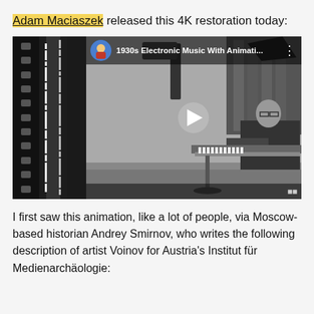Adam Maciaszek released this 4K restoration today:
[Figure (screenshot): YouTube video thumbnail showing a black-and-white photo of a man playing an early electronic keyboard instrument, with film strip visible on the left. Video title reads '1930s Electronic Music With Animati...']
I first saw this animation, like a lot of people, via Moscow-based historian Andrey Smirnov, who writes the following description of artist Voinov for Austria's Institut für Medienarchäologie: